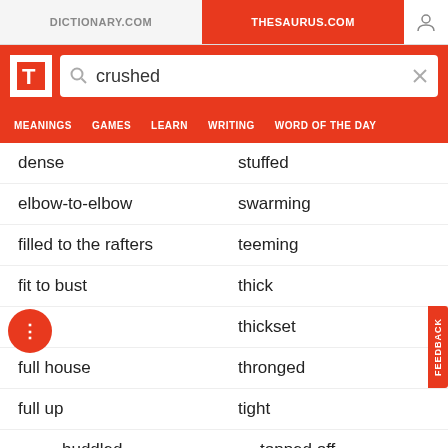DICTIONARY.COM | THESAURUS.COM
crushed
dense | stuffed
elbow-to-elbow | swarming
filled to the rafters | teeming
fit to bust | thick
full | thickset
full house | thronged
full up | tight
huddled | topped off
jam-packed | up to here